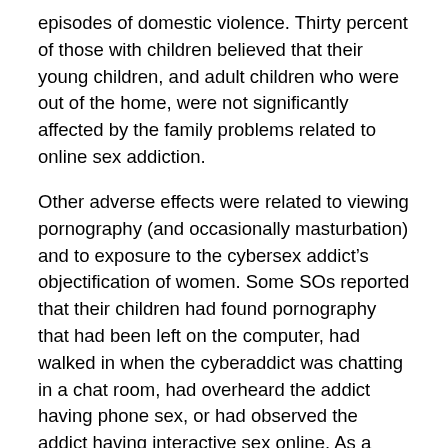episodes of domestic violence. Thirty percent of those with children believed that their young children, and adult children who were out of the home, were not significantly affected by the family problems related to online sex addiction.
Other adverse effects were related to viewing pornography (and occasionally masturbation) and to exposure to the cybersex addict’s objectification of women. Some SOs reported that their children had found pornography that had been left on the computer, had walked in when the cyberaddict was chatting in a chat room, had overheard the addict having phone sex, or had observed the addict having interactive sex online. As a result, one woman wrote, “One daughter became promiscuous, the other wants me to leave him. My son now thinks that hurting or objectifying women is normal.” Other consequences were that the children became “horrified, ashamed, and embarrassed,” got angry at the father, and/or